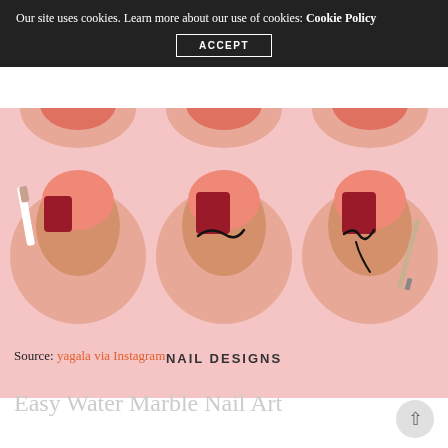Our site uses cookies. Learn more about our use of cookies: Cookie Policy [ACCEPT]
[Figure (photo): Step-by-step nail art tutorial showing three circular close-up photos of nails being decorated with coral/red polish and black line art design, with 'NAIL DESIGNS' text partially visible at bottom, on a pink background. Pinterest 'Pin it' and Facebook share buttons overlaid.]
Source: yagala via Instagram
Easy Water Marble Nail Art